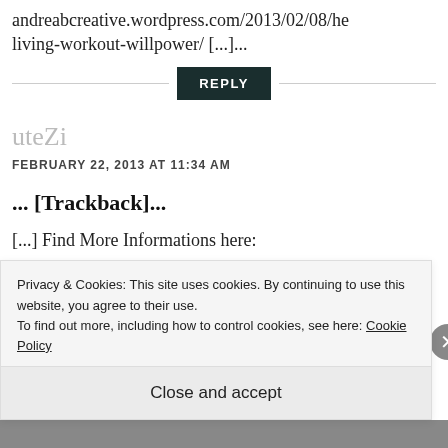andreabcreative.wordpress.com/2013/02/08/he living-workout-willpower/ [...]...
REPLY
uteZi
FEBRUARY 22, 2013 AT 11:34 AM
... [Trackback]...
[...] Find More Informations here:
Privacy & Cookies: This site uses cookies. By continuing to use this website, you agree to their use. To find out more, including how to control cookies, see here: Cookie Policy
Close and accept